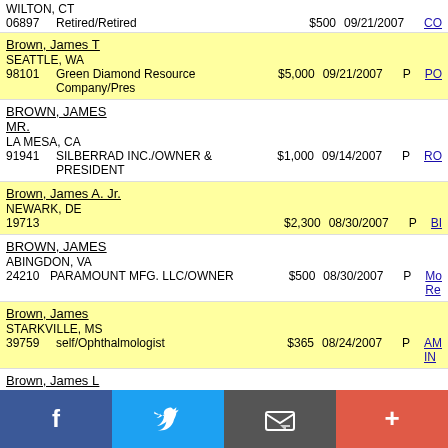WILTON, CT
06897   Retired/Retired   $500   09/21/2007   CO
Brown, James T
SEATTLE, WA
98101   Green Diamond Resource Company/Pres   $5,000   09/21/2007   P   PO
BROWN, JAMES MR.
LA MESA, CA
91941   SILBERRAD INC./OWNER & PRESIDENT   $1,000   09/14/2007   P   RO
Brown, James A. Jr.
NEWARK, DE
19713   $2,300   08/30/2007   P   BI
BROWN, JAMES
ABINGDON, VA
24210   PARAMOUNT MFG. LLC/OWNER   $500   08/30/2007   P   Re
Brown, James
STARKVILLE, MS
39759   self/Ophthalmologist   $365   08/24/2007   P   IN
Brown, James L
MULESHOE, TX
79347   Self-Employed/Farmer   $250   08/17/2007   P   CO
BROWN, JAMES
SAN FRANCISCO, CA
94121   NATIONAL PARK SERVICE/MAINTENANCE W   $1,000   08/15/2007   P   RI
[Figure (infographic): Social media share bar with Facebook, Twitter, email, and add/plus buttons]